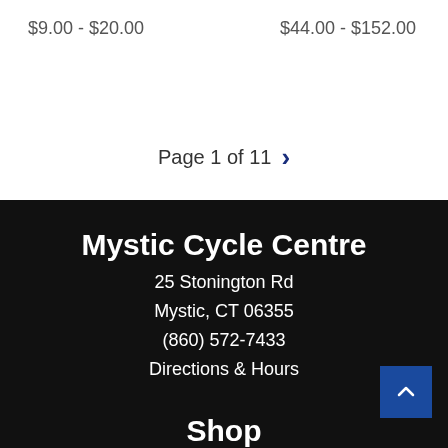$9.00 - $20.00
$44.00 - $152.00
Page 1 of 11 >
Mystic Cycle Centre
25 Stonington Rd
Mystic, CT 06355
(860) 572-7433
Directions & Hours
Shop